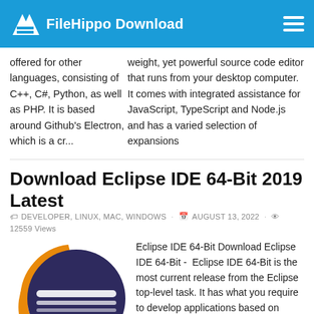FileHippo Download
weight, yet powerful source code editor that runs from your desktop computer. It comes with integrated assistance for JavaScript, TypeScript and Node.js and has a varied selection of expansions offered for other languages, consisting of C++, C#, Python, as well as PHP. It is based around Github's Electron, which is a cr...
Download Eclipse IDE 64-Bit 2019 Latest
DEVELOPER, LINUX, MAC, WINDOWS · AUGUST 13, 2022 · 12559 Views
[Figure (logo): Eclipse IDE logo: dark purple circle with white horizontal stripes, surrounded by an orange crescent arc on the left side]
Eclipse IDE 64-Bit Download Eclipse IDE 64-Bit -  Eclipse IDE 64-Bit is the most current release from the Eclipse top-level task. It has what you require to develop applications based on Eclipse innovation, including integrated advancement settings IDE, and rich customer applications using the Eclipse Rich Client System RCP.